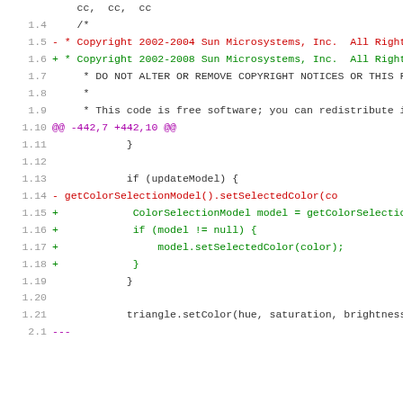[Figure (screenshot): Code diff view showing a patch to a Java source file. Lines include copyright header changes from 2004 to 2008, and code changes related to ColorSelectionModel null-check. Line numbers shown in grey, removed lines in red with '-', added lines in green with '+', context lines in dark/black, and diff hunk headers in purple.]